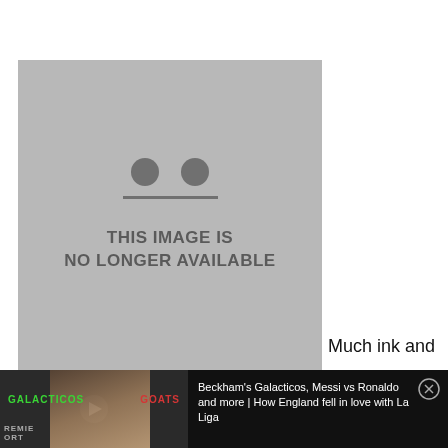[Figure (illustration): Placeholder image showing a neutral face icon and the text THIS IMAGE IS NO LONGER AVAILABLE on a grey background]
Much ink and
[Figure (screenshot): Video thumbnail showing a man in front of a Premier Sports backdrop with GALACTICOS and GOATS text labels, play button overlay. Video title: Beckham's Galacticos, Messi vs Ronaldo and more | How England fell in love with La Liga. Close button in top right corner.]
Beckham's Galacticos, Messi vs Ronaldo and more | How England fell in love with La Liga